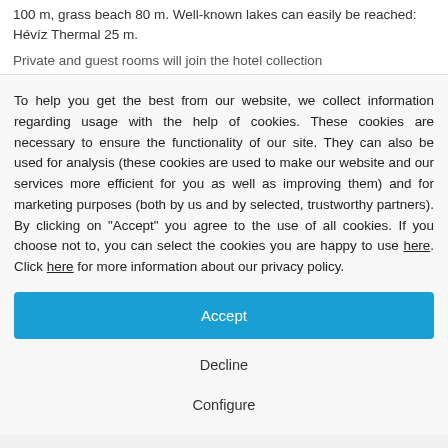100 m, grass beach 80 m. Well-known lakes can easily be reached: Hévíz Thermal 25 m.
Private and guest rooms will join the hotel collection
To help you get the best from our website, we collect information regarding usage with the help of cookies. These cookies are necessary to ensure the functionality of our site. They can also be used for analysis (these cookies are used to make our website and our services more efficient for you as well as improving them) and for marketing purposes (both by us and by selected, trustworthy partners). By clicking on "Accept" you agree to the use of all cookies. If you choose not to, you can select the cookies you are happy to use here. Click here for more information about our privacy policy.
Accept
Decline
Configure